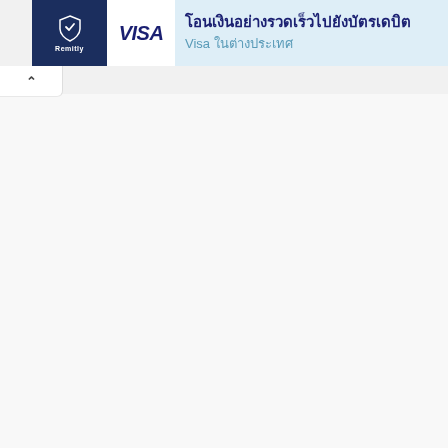[Figure (screenshot): Advertisement banner for Remitly and Visa. Dark navy logo box on left with Remitly shield icon and text, white Visa logo box in center, light blue background with Thai text headline 'โอนเงินอย่างรวดเร็วไปยังบัตรเดบิต' and subtext 'Visa ในต่างประเทศ'. Close and play buttons top right.]
โอนเงินอย่างรวดเร็วไปยังบัตรเดบิต
Visa ในต่างประเทศ